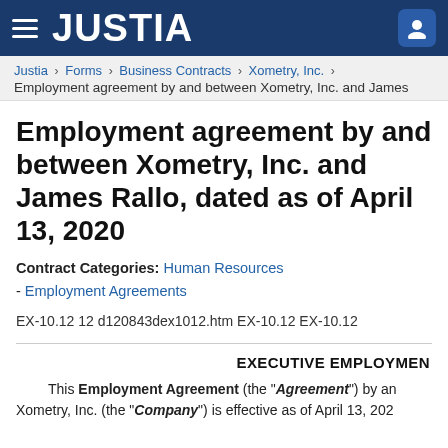JUSTIA
Justia › Forms › Business Contracts › Xometry, Inc. › Employment agreement by and between Xometry, Inc. and James
Employment agreement by and between Xometry, Inc. and James Rallo, dated as of April 13, 2020
Contract Categories: Human Resources - Employment Agreements
EX-10.12 12 d120843dex1012.htm EX-10.12 EX-10.12
EXECUTIVE EMPLOYMENT
This Employment Agreement (the “Agreement”) by and Xometry, Inc. (the “Company”) is effective as of April 13, 202